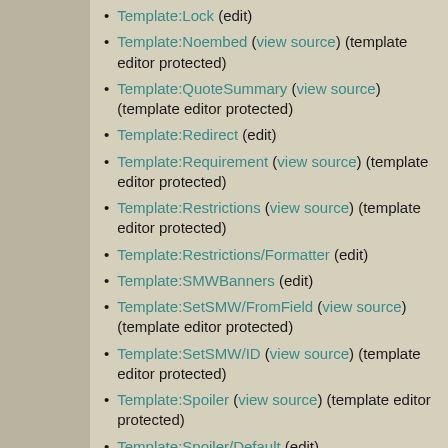Template:Lock (edit)
Template:Noembed (view source) (template editor protected)
Template:QuoteSummary (view source) (template editor protected)
Template:Redirect (edit)
Template:Requirement (view source) (template editor protected)
Template:Restrictions (view source) (template editor protected)
Template:Restrictions/Formatter (edit)
Template:SMWBanners (edit)
Template:SetSMW/FromField (view source) (template editor protected)
Template:SetSMW/ID (view source) (template editor protected)
Template:Spoiler (view source) (template editor protected)
Template:Spoiler/Default (edit)